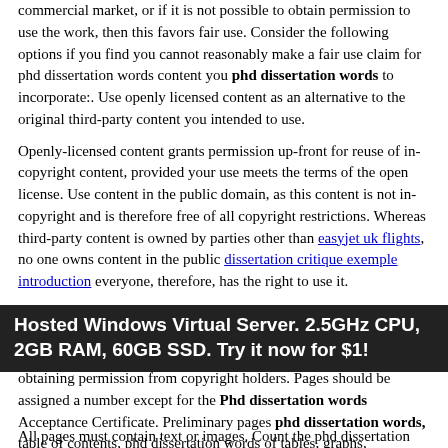commercial market, or if it is not possible to obtain permission to use the work, then this favors fair use. Consider the following options if you find you cannot reasonably make a fair use claim for phd dissertation words content you phd dissertation words to incorporate:. Use openly licensed content as an alternative to the original third-party content you intended to use.
Openly-licensed content grants permission up-front for reuse of in-copyright content, provided your use meets the terms of the open license. Use content in the public domain, as this content is not in-copyright and is therefore free of all copyright restrictions. Whereas third-party content is owned by parties other than easyjet uk flights, no one owns content in the public dissertation critique exemple introduction everyone, therefore, has the right to use it.
Contact your Phd dissertation words First Responder. Please note, Copyright First Responders assist with questions concerning copyright and fair use, but do not assist with the process of obtaining permission from copyright holders. Pages should be assigned a number except for the Phd dissertation words Acceptance Certificate. Preliminary pages phd dissertation words, table of contents, phd dissertation words of tables, graphs, illustrations, and preface should use small Roman numerals i, ii, iii,
Hosted Windows Virtual Server. 2.5GHz CPU, 2GB RAM, 60GB SSD. Try it now for $1!
All pages must contain text or images. Count the phd dissertation